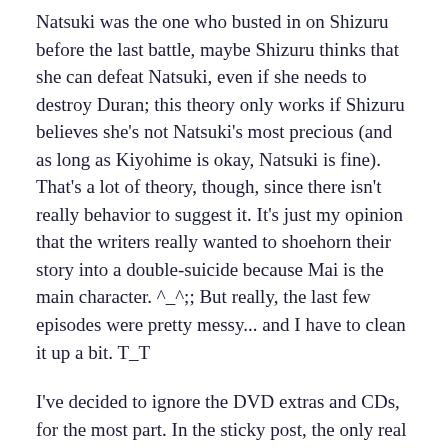Natsuki was the one who busted in on Shizuru before the last battle, maybe Shizuru thinks that she can defeat Natsuki, even if she needs to destroy Duran; this theory only works if Shizuru believes she's not Natsuki's most precious (and as long as Kiyohime is okay, Natsuki is fine). That's a lot of theory, though, since there isn't really behavior to suggest it. It's just my opinion that the writers really wanted to shoehorn their story into a double-suicide because Mai is the main character. ^_^;; But really, the last few episodes were pretty messy... and I have to clean it up a bit. T_T
I've decided to ignore the DVD extras and CDs, for the most part. In the sticky post, the only real canonical references I list are the TV series with only the normal-length aired